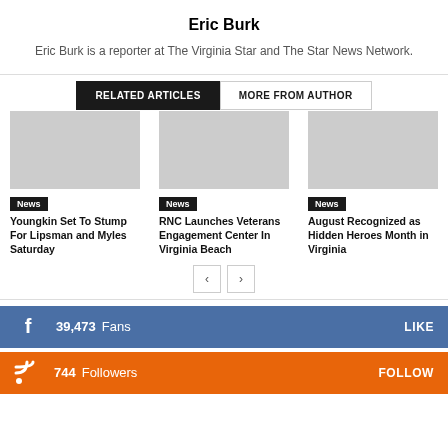Eric Burk
Eric Burk is a reporter at The Virginia Star and The Star News Network.
RELATED ARTICLES
MORE FROM AUTHOR
[Figure (other): Gray placeholder image for article 1]
News
Youngkin Set To Stump For Lipsman and Myles Saturday
[Figure (other): Gray placeholder image for article 2]
News
RNC Launches Veterans Engagement Center In Virginia Beach
[Figure (other): Gray placeholder image for article 3]
News
August Recognized as Hidden Heroes Month in Virginia
39,473  Fans  LIKE
744  Followers  FOLLOW